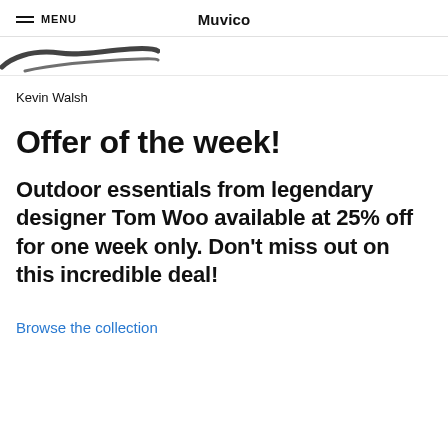MENU   Muvico
[Figure (illustration): Partial brush stroke or handwriting graphic visible at top of content area]
Kevin Walsh
Offer of the week!
Outdoor essentials from legendary designer Tom Woo available at 25% off for one week only. Don't miss out on this incredible deal!
Browse the collection